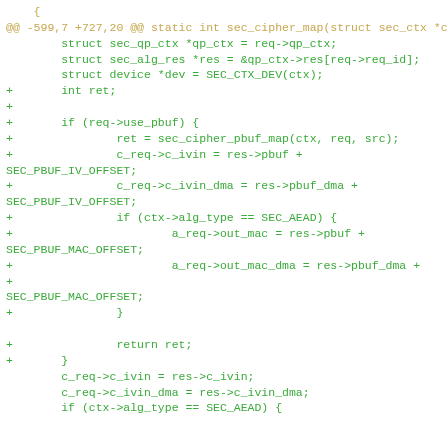[Figure (screenshot): A git diff code snippet showing changes to a C source file. The diff hunk header is shown in yellow/orange, added lines are in green, and context lines are in green. The code is from a function sec_cipher_map involving struct sec_qp_ctx, sec_alg_res, and device pointers, with added logic for req->use_pbuf handling including pbuf map, c_ivin, c_ivin_dma, alg_type SEC_AEAD checks, and out_mac assignments.]